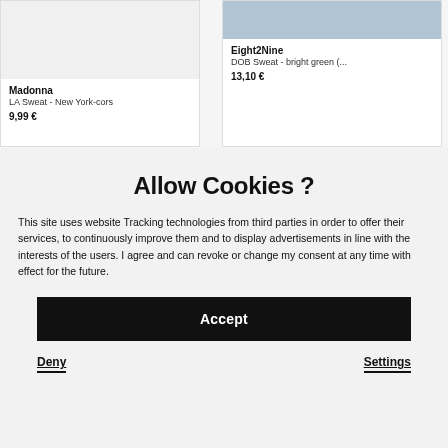[Figure (screenshot): Product card showing Madonna LA Sweat - New York-cors, price 9,99€]
[Figure (screenshot): Product card showing Eight2Nine DOB Sweat - bright green (...), price 13,10€]
Allow Cookies ?
This site uses website Tracking technologies from third parties in order to offer their services, to continuously improve them and to display advertisements in line with the interests of the users. I agree and can revoke or change my consent at any time with effect for the future.
Accept
Deny
Settings